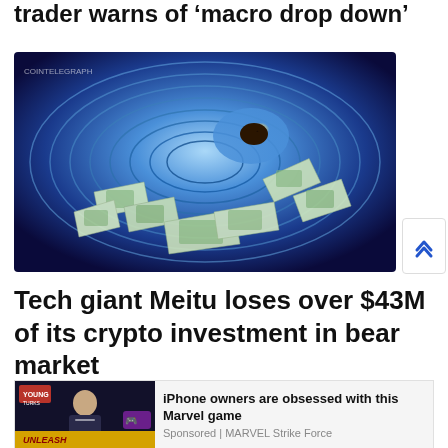trader warns of ‘macro drop down’
[Figure (photo): A digital spiral vortex with cryptocurrency/dollar bills being sucked in, representing financial loss or crypto market downturn. Blue glowing swirl pattern with currency notes flying around it.]
Tech giant Meitu loses over $43M of its crypto investment in bear market
[Figure (screenshot): Advertisement: iPhone owners are obsessed with this Marvel game. Sponsored by MARVEL Strike Force. Shows a news-style video thumbnail with a presenter and gaming imagery with UNLEASH YOUR INNER BEAST logo.]